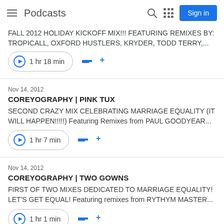Podcasts
FALL 2012 HOLIDAY KICKOFF MIX!!! FEATURING REMIXES BY: TROPICALL, OXFORD HUSTLERS, KRYDER, TODD TERRY,...
1 hr 18 min
Nov 14, 2012
COREYOGRAPHY | PINK TUX
SECOND CRAZY MIX CELEBRATING MARRIAGE EQUALITY (IT WILL HAPPEN!!!!!) Featuring Remixes from PAUL GOODYEAR...
1 hr 7 min
Nov 14, 2012
COREYOGRAPHY | TWO GOWNS
FIRST OF TWO MIXES DEDICATED TO MARRIAGE EQUALITY! LET'S GET EQUAL! Featuring remixes from RYTHYM MASTER...
1 hr 1 min